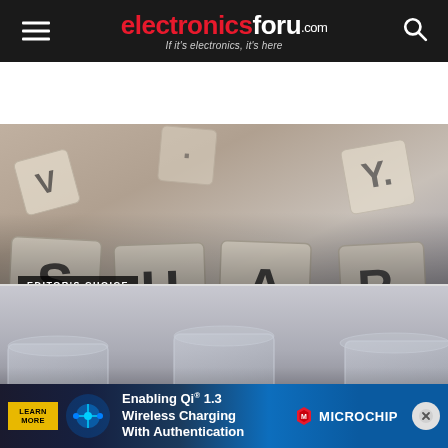electronicsforu.com — If it's electronics, it's here
[Figure (photo): Scrabble letter tiles scattered on a surface, blurred background with letters visible including S, H, A, R, E, V, Y, U, D]
EDITOR'S CHOICE
Authors & Contributors: We Love You
[Figure (photo): Three glass cups/containers on a grey surface, slightly blurred, with a partially visible reCAPTCHA badge in the bottom right]
EDITOR'S CH...
Low-C...
[Figure (infographic): Advertisement banner for Microchip Technology: Enabling Qi 1.3 Wireless Charging With Authentication, with Learn More button and Microchip logo with close button]